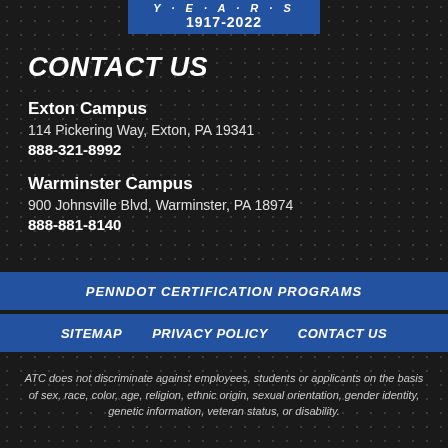[Figure (logo): Blue banner with 'Y E A R S' text and '1917-2022' dates]
CONTACT US
Exton Campus
114 Pickering Way, Exton, PA 19341
888-321-8992
Warminster Campus
900 Johnsville Blvd, Warminster, PA 18974
888-881-8140
PENNDOT CERTIFICATION PROGRAMS
SITEMAP    PRIVACY POLICY    CONTACT US
ATC does not discriminate against employees, students or applicants on the basis of sex, race, color, age, religion, ethnic origin, sexual orientation, gender identity, genetic information, veteran status, or disability.